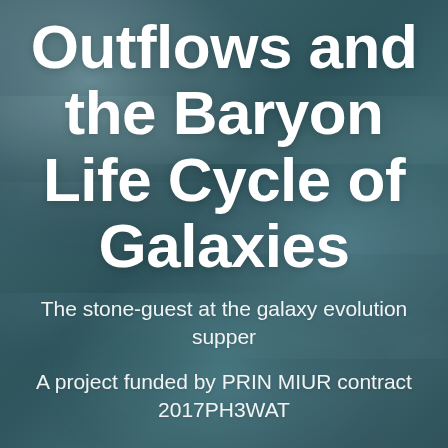[Figure (photo): Abstract background image showing swirling teal/grey textures resembling ocean waves or galaxy dust clouds, serving as the cover background.]
Outflows and the Baryon Life Cycle of Galaxies
The stone-guest at the galaxy evolution supper
A project funded by PRIN MIUR contract 2017PH3WAT